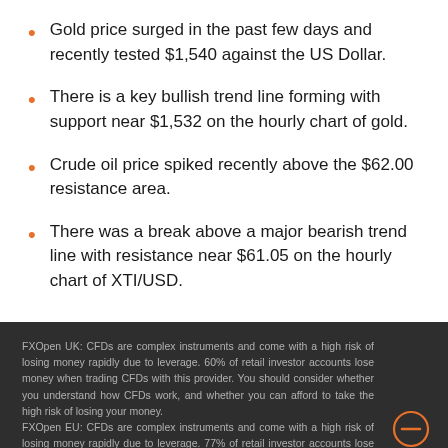Gold price surged in the past few days and recently tested $1,540 against the US Dollar.
There is a key bullish trend line forming with support near $1,532 on the hourly chart of gold.
Crude oil price spiked recently above the $62.00 resistance area.
There was a break above a major bearish trend line with resistance near $61.05 on the hourly chart of XTI/USD.
FXOpen UK: CFDs are complex instruments and come with a high risk of losing money rapidly due to leverage. 60% of retail investor accounts lose money when trading CFDs with this provider. You should consider whether you understand how CFDs work, and whether you can afford to take the high risk of losing your money. FXOpen EU: CFDs are complex instruments and come with a high risk of losing money rapidly due to leverage. 77% of retail investor accounts lose money when trading CFDs with this provider. You should consider whether you understand how CFDs work, and whether you can afford to take the high risk of losing your money.